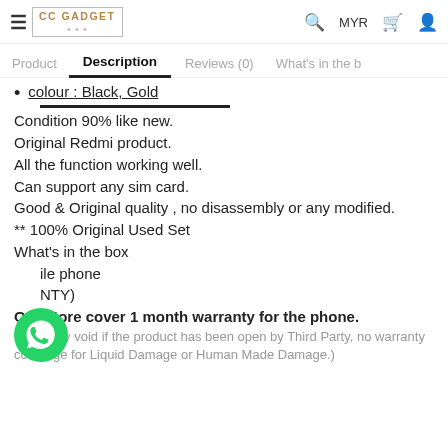CC GADGET | MYR
Product  Description  Reviews (0)  What's in the b
colour : Black, Gold
Condition 90% like new.
Original Redmi product.
All the function working well.
Can support any sim card.
Good & Original quality , no disassembly or any modified.
** 100% Original Used Set
What's in the box
1 x Mobile phone
(WARRANTY)
Our store cover 1 month warranty for the phone.
(Warranty void if the product has been open by Third Party, no warranty coverage for Liquid Damage or Human Made Damage.)